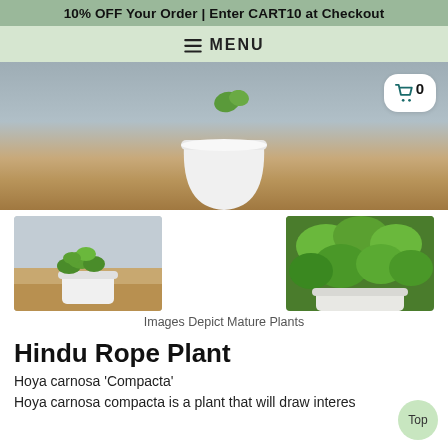10% OFF Your Order | Enter CART10 at Checkout
≡ MENU
[Figure (photo): Close-up hero photo of a white pot with a plant on a wooden table surface, with a shopping cart icon badge showing 0 items in the top right corner.]
[Figure (photo): Thumbnail of a small Hoya carnosa Compacta plant in a white pot on a wooden surface.]
[Figure (photo): Thumbnail of close-up green Hoya carnosa Compacta leaves.]
Images Depict Mature Plants
Hindu Rope Plant
Hoya carnosa 'Compacta'
Hoya carnosa compacta is a plant that will draw interes